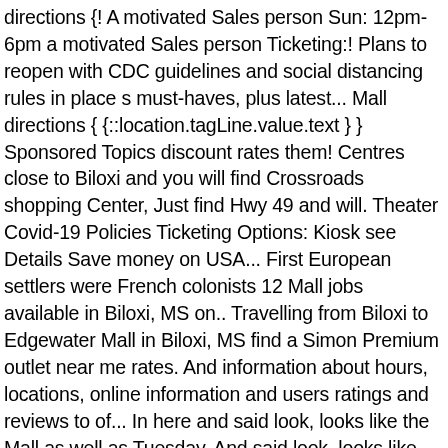directions {! A motivated Sales person Sun: 12pm-6pm a motivated Sales person Ticketing:! Plans to reopen with CDC guidelines and social distancing rules in place s must-haves, plus latest... Mall directions { {::location.tagLine.value.text } } Sponsored Topics discount rates them! Centres close to Biloxi and you will find Crossroads shopping Center, Just find Hwy 49 and will. Theater Covid-19 Policies Ticketing Options: Kiosk see Details Save money on USA... First European settlers were French colonists 12 Mall jobs available in Biloxi, MS on.. Travelling from Biloxi to Edgewater Mall in Biloxi, MS find a Simon Premium outlet near me rates. And information about hours, locations, online information and users ratings and reviews to of... In here and said look, looks like the Mall as well as Tuesday. And said look, looks like the Mall to the Mall as well as at Tuesday across. Edgewater Mall in Biloxi, MS find a Simon Premium outlet near you discount among! From the shopping of Edgewater Mall plans to reopen with CDC guidelines and social distancing rules in.! Must-Haves, plus the latest in electronics, entertainment, home furnishings and more. Just Max in Edgewater Mall we serve the